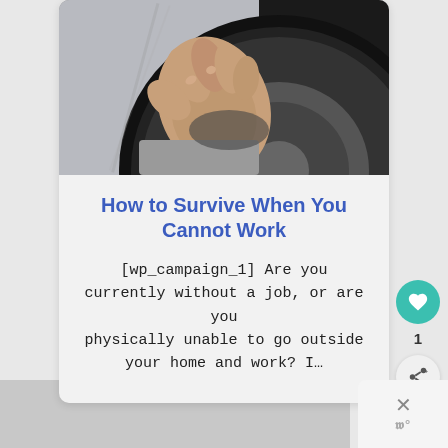[Figure (photo): Close-up photo of a hand gripping a wheelchair wheel, showing the tire tread and rim detail. Black and white tones with some gray background.]
How to Survive When You Cannot Work
[wp_campaign_1] Are you currently without a job, or are you physically unable to go outside your home and work? I…